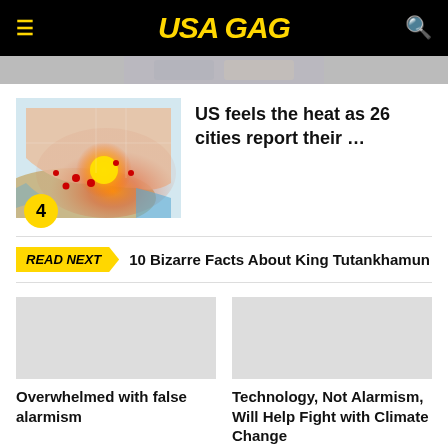USA GAG
[Figure (photo): Partial top image, cut off at top of page]
[Figure (map): US weather heat map showing temperatures across cities, with orange/red coloring indicating heat and a sun-like glow over the southwest region. Red dots mark cities. Badge number 4 overlaid.]
US feels the heat as 26 cities report their …
READ NEXT  10 Bizarre Facts About King Tutankhamun
Overwhelmed with false alarmism
Technology, Not Alarmism, Will Help Fight with Climate Change
MOST POPULAR THIS WEEK